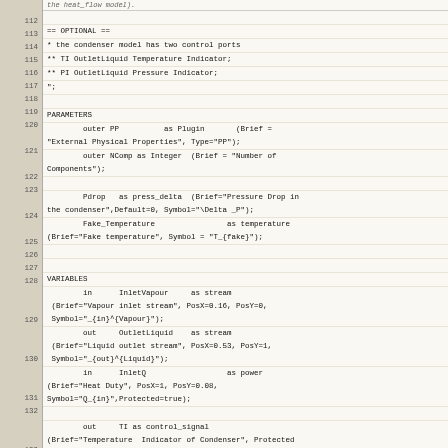Code listing lines 111-133, engineering simulation model source code
112: (blank)
113: == OPTIONAL ==
114: * the condenser model has two control ports
115: ** TI OutletLiquid Temperature Indicator;
116: ** PI OutletLiquid Pressure Indicator;
117: ";
118: (blank)
119: PARAMETERS
120: outer PP as Plugin (Brief = "External Physical Properties", Type="PP");
121: outer NComp as Integer (Brief = "Number of Components");
122: (blank)
123: Pdrop as press_delta (Brief="Pressure Drop in the condenser",Default=0, Symbol="\Delta _P");
124: Fake_Temperature as temperature (Brief="Fake temperature", Symbol = "T_{fake}");
125: (blank)
126: (blank)
127: VARIABLES
128: in InletVapour as stream (Brief="Vapour inlet stream", PosX=0.16, PosY=0, Symbol="_{in}^{Vapour}");
129: out OutletLiquid as stream (Brief="Liquid outlet stream", PosX=0.53, PosY=1, Symbol="_{out}^{Liquid}");
130: in InletQ as power (Brief="Heat Duty", PosX=1, PosY=0.08, Symbol="Q_{in}",Protected=true);
131: (blank)
132: out TI as control_signal (Brief="Temperature Indicator of Condenser", Protected = true, PosX=0.50, PosY=0);
133: out PI as control_signal